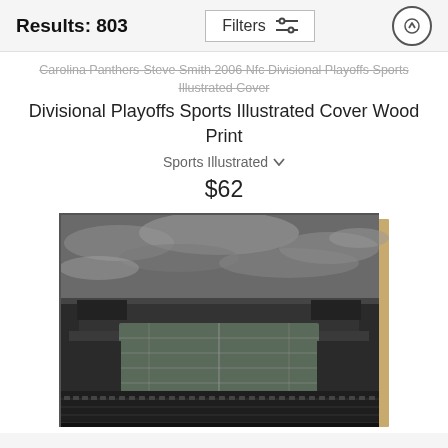Results: 803
Filters
Carolina Panthers-Steve Smith 2006 Nfc Divisional Playoffs Sports Illustrated Cover Wood Print
Sports Illustrated
$62
[Figure (photo): Black and white aerial photograph of a large football stadium printed on a wood board with a natural wood edge visible on the right side. The stadium shows full seating bowl from an elevated perspective with dramatic cloudy sky above.]